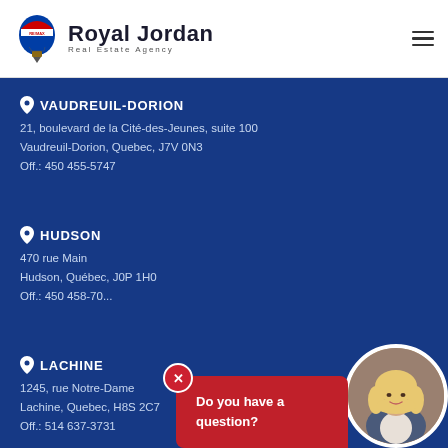[Figure (logo): RE/MAX Royal Jordan Real Estate Agency logo with hot air balloon icon]
VAUDREUIL-DORION
21, boulevard de la Cité-des-Jeunes, suite 100
Vaudreuil-Dorion, Quebec, J7V 0N3
Off.: 450 455-5747
HUDSON
470 rue Main
Hudson, Québec, J0P 1H0
Off.: 450 458-70...
LACHINE
1245, rue Notre-Dame
Lachine, Quebec, H8S 2C7
Off.: 514 637-3731
[Figure (photo): Agent photo of blonde woman in circular frame with red 'Do you have a question?' popup dialog]